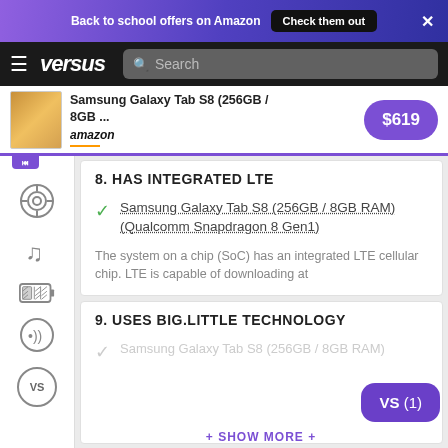Back to school offers on Amazon  Check them out  ×
versus  Search
[Figure (screenshot): Product bar showing Samsung Galaxy Tab S8 (256GB / 8GB ...) with Amazon logo and $619 price button]
8. HAS INTEGRATED LTE
Samsung Galaxy Tab S8 (256GB / 8GB RAM) (Qualcomm Snapdragon 8 Gen1)
The system on a chip (SoC) has an integrated LTE cellular chip. LTE is capable of downloading at
9. USES BIG.LITTLE TECHNOLOGY
Samsung Galaxy Tab S8 (256GB / 8GB RAM)
+ SHOW MORE +